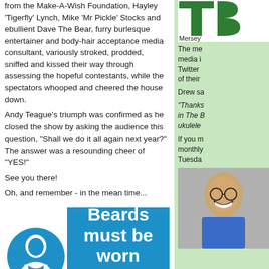from the Make-A-Wish Foundation, Hayley 'Tigerfly' Lynch, Mike 'Mr Pickle' Stocks and ebullient Dave The Bear, furry burlesque entertainer and body-hair acceptance media consultant, variously stroked, prodded, sniffed and kissed their way through assessing the hopeful contestants, while the spectators whooped and cheered the house down.
Andy Teague's triumph was confirmed as he closed the show by asking the audience this question, "Shall we do it all again next year?" The answer was a resounding cheer of "YES!"
See you there!
Oh, and remember - in the mean time...
[Figure (illustration): Blue circle with white beard man icon, next to blue rectangle sign reading 'Beards must be worn at all times' with copyright The Wessex Beardsmen]
The Wessex Beardsmen on Facebook
Make-A-Wish Foundation UK
Nimbus Photographic
[Figure (logo): Partial green logo top right, letters T, B, Mersey visible]
The me media i Twitter of their
Drew sa
"Thanks in The B ukulele
If you m monthly Tuesda
[Figure (photo): Partial photo of a smiling person bottom right]